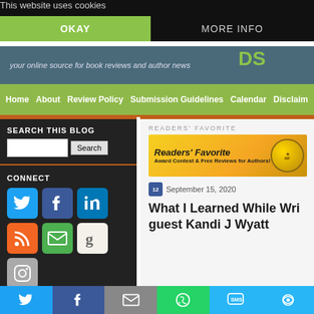This website uses cookies
OKAY | MORE INFO
your online source for book reviews and author news
Home  About  Review Policy  Submission Guidelines  Calendar  Disclaim...
SEARCH THIS BLOG
CONNECT
[Figure (screenshot): Readers' Favorite banner advertisement with gold gradient background, bold italic text reading Readers' Favorite Award Contest & Free Reviews for Authors!, and a gold medal seal on the right]
READERS' FAVORITE
September 15, 2020
What I Learned While Wri... guest Kandi J Wyatt